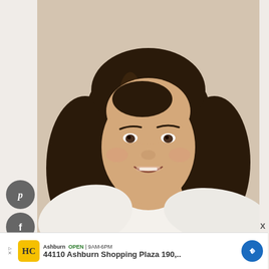[Figure (photo): Portrait photo of a woman with long dark wavy hair, wearing a white turtleneck sweater, smiling, seated against a light gray/beige background]
[Figure (infographic): Social media share buttons: Pinterest (p), Facebook (f), Flipboard (E), Twitter bird icon — gray circular buttons on the left side]
Ashburn OPEN | 9AM-6PM
44110 Ashburn Shopping Plaza 190,..
X